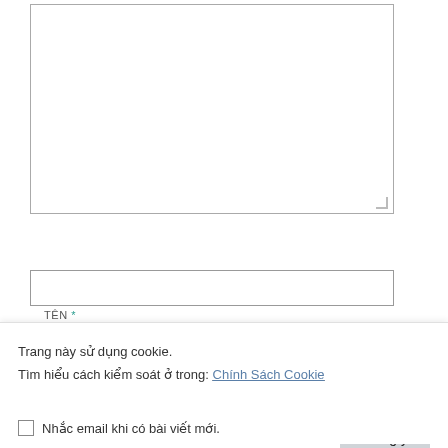[Figure (screenshot): Web form with textarea at top, then TEN (name), EMAIL, and TRANG WEB (website) input fields, followed by a Gửi bình luận (submit comment) button]
TÊN *
EMAIL *
TRANG WEB
Gửi bình luận
Trang này sử dụng cookie.
Tìm hiểu cách kiểm soát ở trong: Chính Sách Cookie
Đồng ý
Nhắc email khi có bài viết mới.